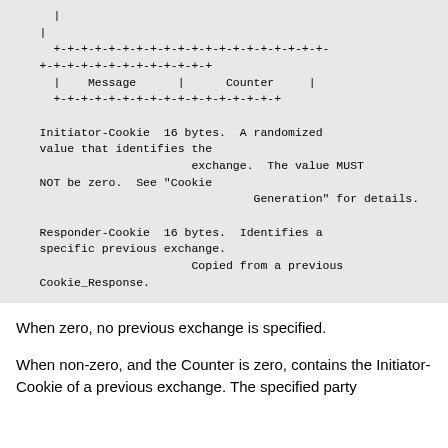|
    |
      +-+-+-+-+-+-+-+-+-+-+-+-+-+-+-+-+-+-+-+-
    +-+-+-+-+-+-+-+-+-+-+-+-+
      |    Message      |     Counter    |
      +-+-+-+-+-+-+-+-+-+-+-+-+-+-+-+-+

    Initiator-Cookie  16 bytes.  A randomized value that identifies the
                          exchange.  The value MUST NOT be zero.  See "Cookie
                                   Generation" for details.

    Responder-Cookie  16 bytes.  Identifies a specific previous exchange.
                          Copied from a previous Cookie_Response.
When zero, no previous exchange is specified.
When non-zero, and the Counter is zero, contains the Initiator-Cookie of a previous exchange. The specified party